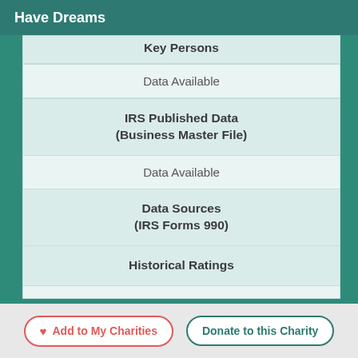Have Dreams
| Key Persons | IRS Published Data (Business Master File) | Data Sources (IRS Forms 990) | Historical Ratings |
| --- | --- | --- | --- |
| Key Persons | Data Available |
| IRS Published Data (Business Master File) | Data Available |
| Data Sources (IRS Forms 990) |  |
| Historical Ratings | Data Available |
Add to My Charities
Donate to this Charity